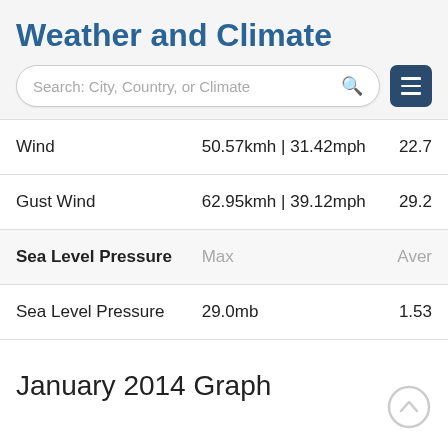Weather and Climate
Search: City, Country, or Climate
|  | Max | Aver |
| --- | --- | --- |
| Wind | 50.57kmh | 31.42mph | 22.7 |
| Gust Wind | 62.95kmh | 39.12mph | 29.2 |
| Sea Level Pressure | Max | Aver |
| Sea Level Pressure | 29.0mb | 1.53 |
January 2014 Graph